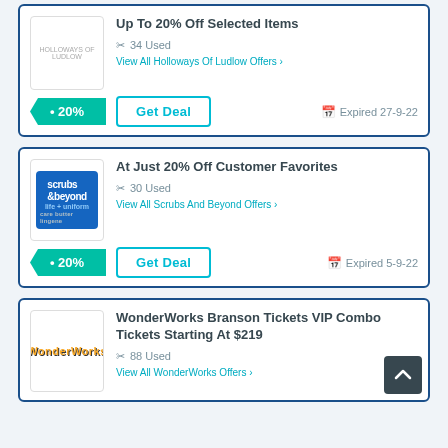Up To 20% Off Selected Items
34 Used
View All Holloways Of Ludlow Offers >
Get Deal
Expired 27-9-22
At Just 20% Off Customer Favorites
30 Used
View All Scrubs And Beyond Offers >
Get Deal
Expired 5-9-22
WonderWorks Branson Tickets VIP Combo Tickets Starting At $219
88 Used
View All WonderWorks Offers >